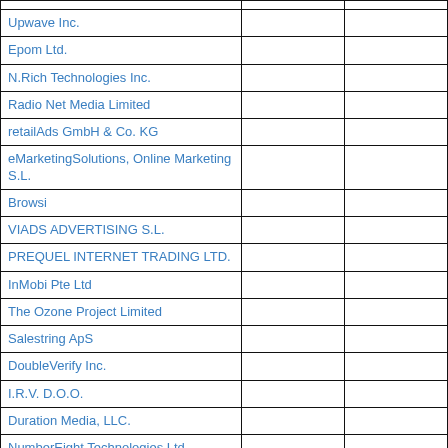|  |  |  |
| --- | --- | --- |
| Upwave Inc. |  |  |
| Epom Ltd. |  |  |
| N.Rich Technologies Inc. |  |  |
| Radio Net Media Limited |  |  |
| retailAds GmbH & Co. KG |  |  |
| eMarketingSolutions, Online Marketing S.L. |  |  |
| Browsi |  |  |
| VIADS ADVERTISING S.L. |  |  |
| PREQUEL INTERNET TRADING LTD. |  |  |
| InMobi Pte Ltd |  |  |
| The Ozone Project Limited |  |  |
| Salestring ApS |  |  |
| DoubleVerify Inc. |  |  |
| I.R.V. D.O.O. |  |  |
| Duration Media, LLC. |  |  |
| NumberEight Technologies Ltd |  |  |
| CAKE Software, Inc. |  |  |
| cynapsis interactive GmbH |  |  |